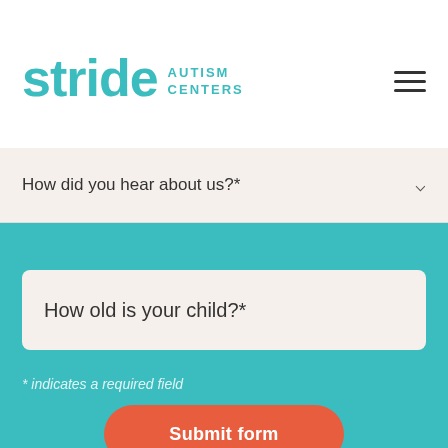[Figure (logo): Stride Autism Centers logo with teal wordmark and hamburger menu icon]
How did you hear about us?*
How old is your child?*
* indicates a required field
Submit form